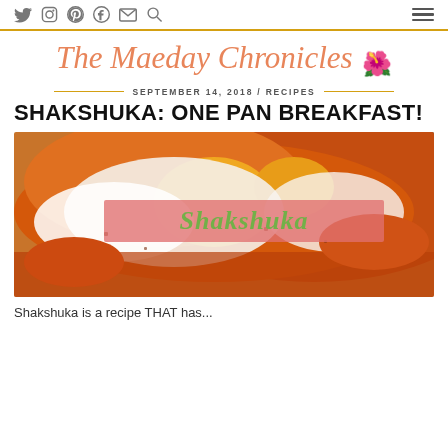The Maeday Chronicles
SEPTEMBER 14, 2018 / RECIPES
SHAKSHUKA: ONE PAN BREAKFAST!
[Figure (photo): Close-up photo of Shakshuka dish with eggs in tomato sauce, with a pink banner overlay reading 'Shakshuka' in green script]
Shakshuka is a recipe THAT has...